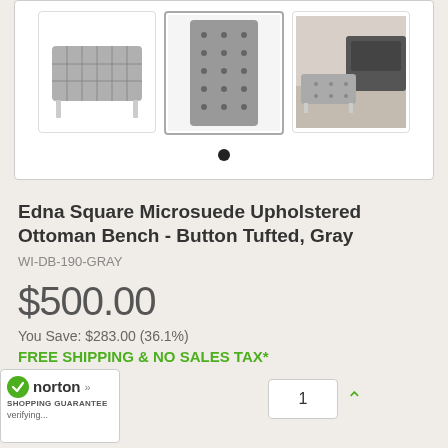[Figure (photo): Three thumbnail images of an ottoman bench product: side view of gray tufted square ottoman with chrome legs, front view of gray tufted surface, and lifestyle photo of ottoman in room setting. A pagination dot indicator is below the thumbnails.]
Edna Square Microsuede Upholstered Ottoman Bench - Button Tufted, Gray
WI-DB-190-GRAY
$500.00
You Save: $283.00 (36.1%)
FREE SHIPPING & NO SALES TAX*
[Figure (logo): Norton Shopping Guarantee badge with green checkmark, 'norton' text, double arrow, SHOPPING GUARANTEE subtitle, and 'verifying...' text below]
1